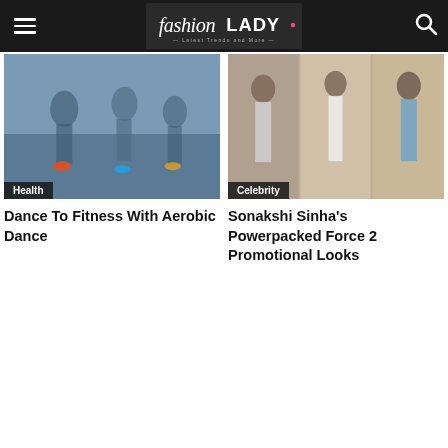fashion LADY — Latest Trends and More
[Figure (photo): People doing aerobic dance in a gym with colored shoes and white pants]
Health
Dance To Fitness With Aerobic Dance
[Figure (photo): Sonakshi Sinha in multiple promotional outfits for Force 2]
Celebrity
Sonakshi Sinha's Powerpacked Force 2 Promotional Looks